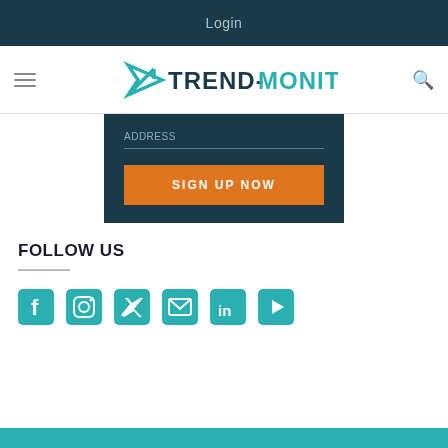Login
[Figure (logo): Trend-Monitor logo with teal arrow icon and text TREND-MONITOR]
[Figure (screenshot): Dark teal signup panel with email input field and orange SIGN UP NOW button]
FOLLOW US
[Figure (infographic): Social media icons: Facebook, Instagram, Twitter, Email, LinkedIn, YouTube — all in teal color]